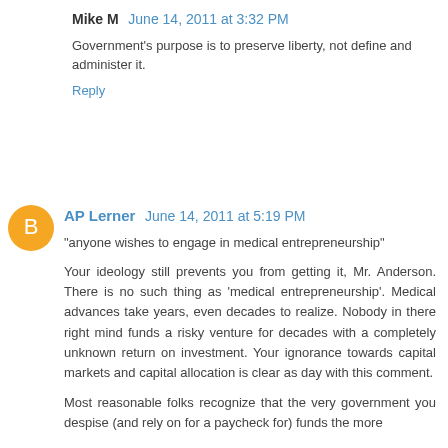Mike M   June 14, 2011 at 3:32 PM
Government's purpose is to preserve liberty, not define and administer it.
Reply
AP Lerner   June 14, 2011 at 5:19 PM
"anyone wishes to engage in medical entrepreneurship"
Your ideology still prevents you from getting it, Mr. Anderson. There is no such thing as 'medical entrepreneurship'. Medical advances take years, even decades to realize. Nobody in there right mind funds a risky venture for decades with a completely unknown return on investment. Your ignorance towards capital markets and capital allocation is clear as day with this comment.
Most reasonable folks recognize that the very government you despise (and rely on for a paycheck for) funds the more